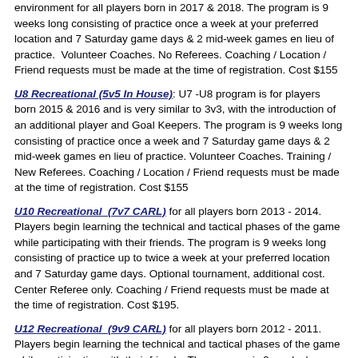environment for all players born in 2017 & 2018. The program is 9 weeks long consisting of practice once a week at your preferred location and 7 Saturday game days & 2 mid-week games en lieu of practice. Volunteer Coaches. No Referees. Coaching / Location / Friend requests must be made at the time of registration. Cost $155
U8 Recreational (5v5 In House): U7 -U8 program is for players born 2015 & 2016 and is very similar to 3v3, with the introduction of an additional player and Goal Keepers. The program is 9 weeks long consisting of practice once a week and 7 Saturday game days & 2 mid-week games en lieu of practice. Volunteer Coaches. Training / New Referees. Coaching / Location / Friend requests must be made at the time of registration. Cost $155
U10 Recreational (7v7 CARL) for all players born 2013 - 2014. Players begin learning the technical and tactical phases of the game while participating with their friends. The program is 9 weeks long consisting of practice up to twice a week at your preferred location and 7 Saturday game days. Optional tournament, additional cost. Center Referee only. Coaching / Friend requests must be made at the time of registration. Cost $195.
U12 Recreational (9v9 CARL) for all players born 2012 - 2011. Players begin learning the technical and tactical phases of the game while participating with their friends. The program is 9 weeks long...